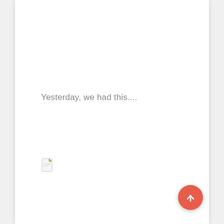Yesterday, we had this....
[Figure (other): Broken/missing image placeholder icon (small document icon with green corner)]
[Figure (other): Red circular scroll-to-top button with white upward arrow]